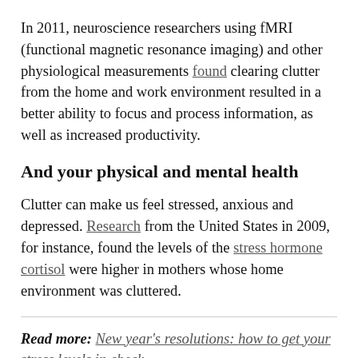In 2011, neuroscience researchers using fMRI (functional magnetic resonance imaging) and other physiological measurements found clearing clutter from the home and work environment resulted in a better ability to focus and process information, as well as increased productivity.
And your physical and mental health
Clutter can make us feel stressed, anxious and depressed. Research from the United States in 2009, for instance, found the levels of the stress hormone cortisol were higher in mothers whose home environment was cluttered.
Read more: New year's resolutions: how to get your stress levels in check